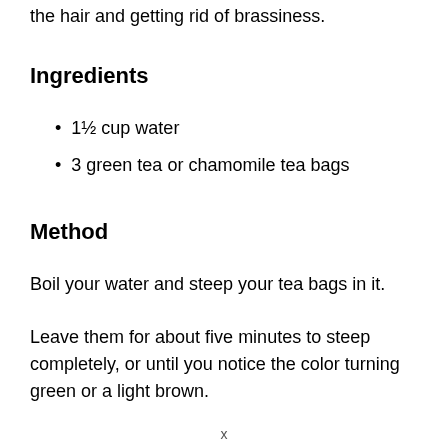the hair and getting rid of brassiness.
Ingredients
1½ cup water
3 green tea or chamomile tea bags
Method
Boil your water and steep your tea bags in it.
Leave them for about five minutes to steep completely, or until you notice the color turning green or a light brown.
x